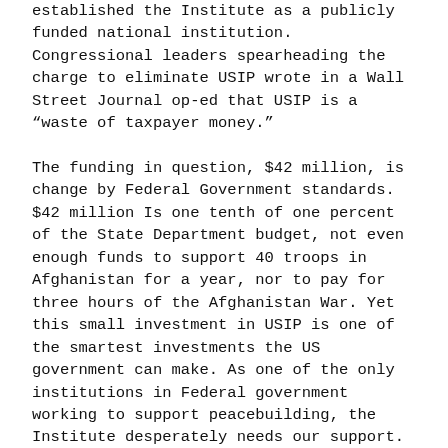established the Institute as a publicly funded national institution. Congressional leaders spearheading the charge to eliminate USIP wrote in a Wall Street Journal op-ed that USIP is a “waste of taxpayer money.”
The funding in question, $42 million, is change by Federal Government standards. $42 million Is one tenth of one percent of the State Department budget, not even enough funds to support 40 troops in Afghanistan for a year, nor to pay for three hours of the Afghanistan War. Yet this small investment in USIP is one of the smartest investments the US government can make. As one of the only institutions in Federal government working to support peacebuilding, the Institute desperately needs our support.
Iraq would have further spiraled out of control had